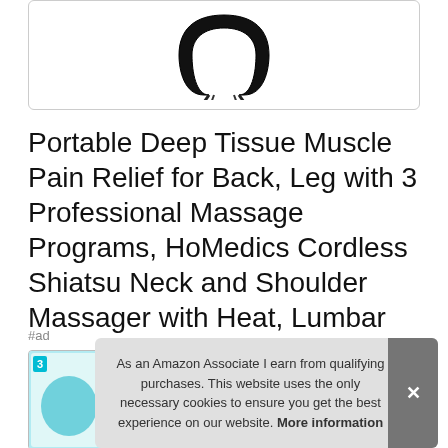[Figure (photo): Product image of a black cordless shiatsu neck and shoulder massager device shown partially at top of frame]
Portable Deep Tissue Muscle Pain Relief for Back, Leg with 3 Professional Massage Programs, HoMedics Cordless Shiatsu Neck and Shoulder Massager with Heat, Lumbar
#ad
[Figure (photo): Small product thumbnail image with teal background showing massage product with badge '3']
As an Amazon Associate I earn from qualifying purchases. This website uses the only necessary cookies to ensure you get the best experience on our website. More information